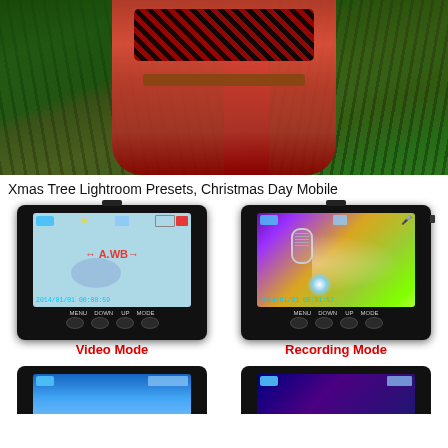[Figure (photo): A person wearing a red dress and red plaid scarf/shawl standing in front of or near a Christmas tree with green pine branches visible]
Xmas Tree Lightroom Presets, Christmas Day Mobile
[Figure (photo): A black handheld camera/recorder device in Video Mode showing a light blue screen with recording icons and timestamp 2014/01/01 00:00:59, with MENU DOWN UP MODE buttons below and red text 'Video Mode' beneath]
[Figure (photo): A black handheld camera/recorder device in Recording Mode showing a colorful screen with microphone icon and timestamp 2014/01/01 00:01:57, with MENU DOWN UP MODE buttons below and red text 'Recording Mode' beneath]
[Figure (photo): Bottom portion of a black handheld camera/recorder device with blue screen visible, partially cropped]
[Figure (photo): Bottom portion of a black handheld camera/recorder device with dark screen visible, partially cropped]